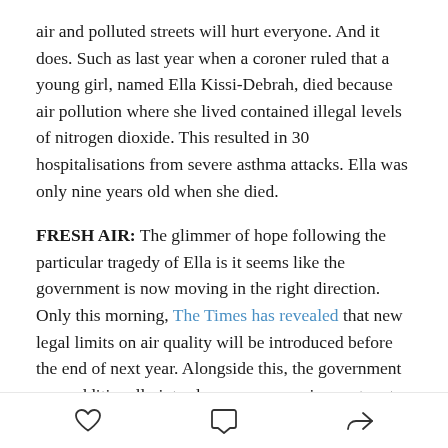air and polluted streets will hurt everyone. And it does. Such as last year when a coroner ruled that a young girl, named Ella Kissi-Debrah, died because air pollution where she lived contained illegal levels of nitrogen dioxide. This resulted in 30 hospitalisations from severe asthma attacks. Ella was only nine years old when she died.
FRESH AIR: The glimmer of hope following the particular tragedy of Ella is it seems like the government is now moving in the right direction. Only this morning, The Times has revealed that new legal limits on air quality will be introduced before the end of next year. Alongside this, the government may additionally introduce a new warning system to alert
[heart icon] [comment icon] [share icon]